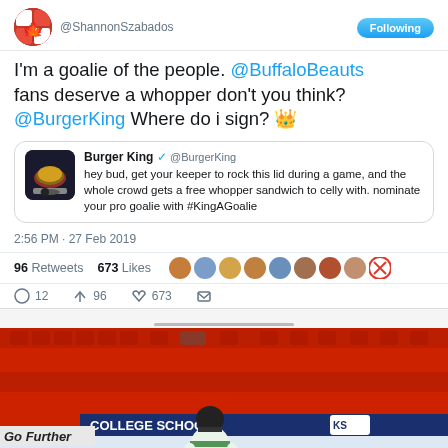[Figure (screenshot): Twitter/X screenshot of a tweet by @ShannonSzabados with a Following button]
I'm a goalie of the people. @BuffaloBeauts fans deserve a whopper don't you think? @BurgerKing Where do i sign? 👑
[Figure (screenshot): Quoted tweet from Burger King @BurgerKing: hey bud, get your keeper to rock this lid during a game, and the whole crowd gets a free whopper sandwich to celly with. nominate your pro goalie with #KingAGoalie]
2:56 PM · 27 Feb 2019
96 Retweets  673 Likes
12  96  673
[Figure (photo): Hockey player in green and white jersey on ice rink with red seats behind. Advertisement banners visible including 'Go Further' and 'COLLEGE SCHOOL'.]